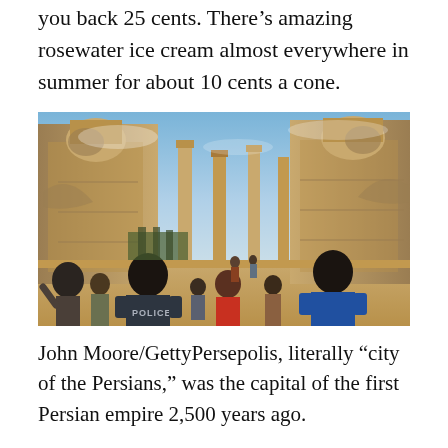you back 25 cents. There's amazing rosewater ice cream almost everywhere in summer for about 10 cents a cone.
[Figure (photo): Tourists, including a person wearing a POLICE jacket, view the ancient ruins of Persepolis with large stone guardian figures and columns under a blue sky.]
John Moore/GettyPersepolis, literally “city of the Persians,” was the capital of the first Persian empire 2,500 years ago.
Iran is safe for female travelers. Iranian women dress fashionably, and the level of respect on the streets could